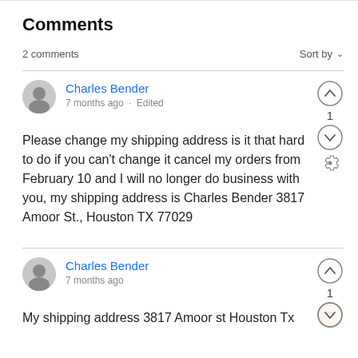Comments
2 comments
Sort by
Charles Bender
7 months ago · Edited
Please change my shipping address is it that hard to do if you can't change it cancel my orders from February 10 and I will no longer do business with you, my shipping address is Charles Bender 3817 Amoor St., Houston TX 77029
Charles Bender
7 months ago
My shipping address 3817 Amoor st Houston Tx